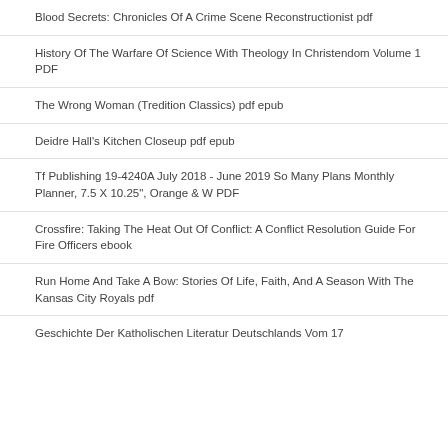Blood Secrets: Chronicles Of A Crime Scene Reconstructionist pdf
History Of The Warfare Of Science With Theology In Christendom Volume 1 PDF
The Wrong Woman (Tredition Classics) pdf epub
Deidre Hall's Kitchen Closeup pdf epub
Tf Publishing 19-4240A July 2018 - June 2019 So Many Plans Monthly Planner, 7.5 X 10.25", Orange & W PDF
Crossfire: Taking The Heat Out Of Conflict: A Conflict Resolution Guide For Fire Officers ebook
Run Home And Take A Bow: Stories Of Life, Faith, And A Season With The Kansas City Royals pdf
Geschichte Der Katholischen Literatur Deutschlands Vom 17...